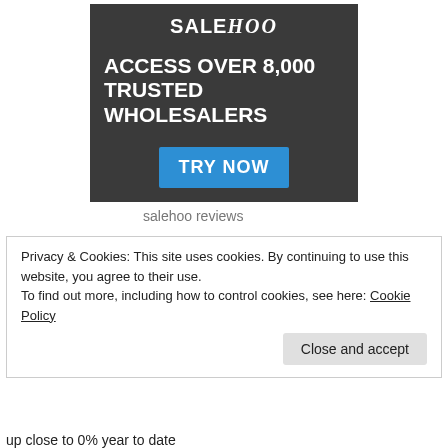[Figure (illustration): SaleHoo advertisement banner with dark background. Logo at top reads 'SALEHOO' with italic styling on 'HOO'. Large white bold text reads 'ACCESS OVER 8,000 TRUSTED WHOLESALERS'. Blue button below reads 'TRY NOW'.]
salehoo reviews
Privacy & Cookies: This site uses cookies. By continuing to use this website, you agree to their use.
To find out more, including how to control cookies, see here: Cookie Policy
Close and accept
up close to 0% year to date